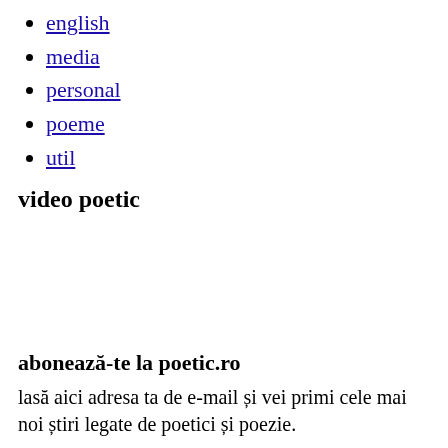english
media
personal
poeme
util
video poetic
abonează-te la poetic.ro
lasă aici adresa ta de e-mail și vei primi cele mai noi știri legate de poetici și poezie.